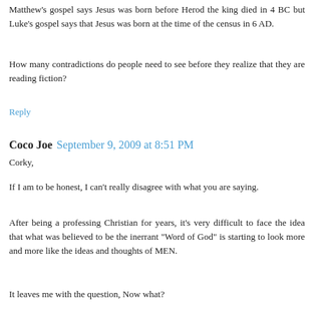Matthew's gospel says Jesus was born before Herod the king died in 4 BC but Luke's gospel says that Jesus was born at the time of the census in 6 AD.
How many contradictions do people need to see before they realize that they are reading fiction?
Reply
Coco Joe  September 9, 2009 at 8:51 PM
Corky,
If I am to be honest, I can't really disagree with what you are saying.
After being a professing Christian for years, it's very difficult to face the idea that what was believed to be the inerrant "Word of God" is starting to look more and more like the ideas and thoughts of MEN.
It leaves me with the question, Now what?